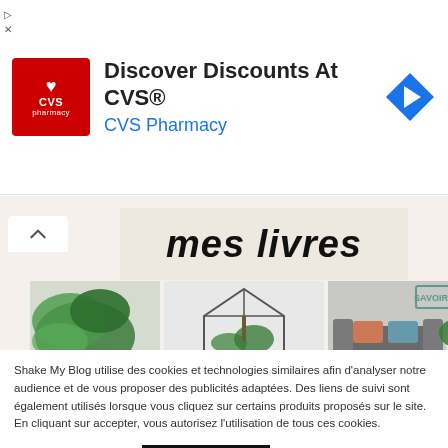[Figure (screenshot): CVS Pharmacy advertisement banner with red CVS logo, headline 'Discover Discounts At CVS®', subline 'CVS Pharmacy', and a blue diamond navigation arrow icon on the right]
[Figure (screenshot): Blog section showing 'mes livres' title in handwritten black font on a beige background, with plant book cover images below]
Shake My Blog utilise des cookies et technologies similaires afin d'analyser notre audience et de vous proposer des publicités adaptées. Des liens de suivi sont également utilisés lorsque vous cliquez sur certains produits proposés sur le site. En cliquant sur accepter, vous autorisez l'utilisation de tous ces cookies.
Cookie settings
ACCEPTER